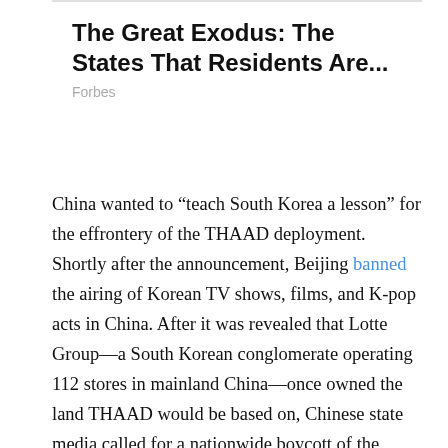The Great Exodus: The States That Residents Are...
Forbes
China wanted to “teach South Korea a lesson” for the effrontery of the THAAD deployment. Shortly after the announcement, Beijing banned the airing of Korean TV shows, films, and K-pop acts in China. After it was revealed that Lotte Group—a South Korean conglomerate operating 112 stores in mainland China—once owned the land THAAD would be based on, Chinese state media called for a nationwide boycott of the company. By March 2017, nearly half of Lotte’s